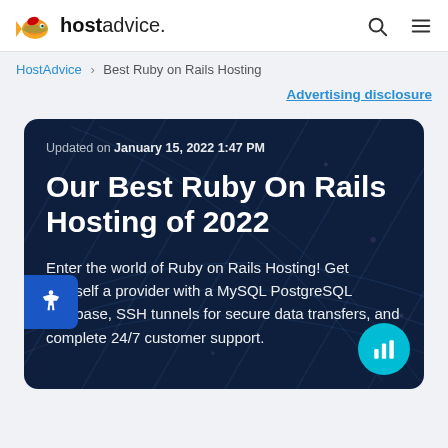[Figure (logo): HostAdvice logo with a cartoon fish mascot and the text 'hostadvice.' in bold and regular weight]
HostAdvice > Best Ruby on Rails Hosting
Advertising disclosure
Updated on January 15, 2022 1:47 PM
Our Best Ruby On Rails Hosting of 2022
Enter the world of Ruby on Rails Hosting! Get yourself a provider with a MySQL PostgreSQL database, SSH tunnels for secure data transfers, and complete 24/7 customer support.